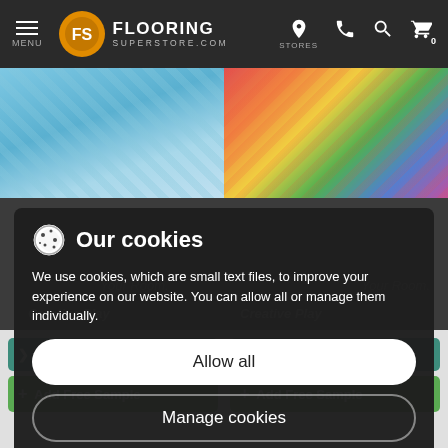MENU | FLOORING SUPERSTORE.COM | STORES
[Figure (screenshot): Flooring Superstore website with cookie consent modal overlay. Top navigation bar with hamburger menu, Flooring Superstore logo, store locator, phone, search, and cart icons. Background shows two flooring product images. A dark overlay cookie consent dialog reads: Our cookies - We use cookies, which are small text files, to improve your experience on our website. You can allow all or manage them individually. Buttons: Allow all, Manage cookies. Bottom section shows product cards with View Product and Add Free Sample buttons, prices £6.49/m².]